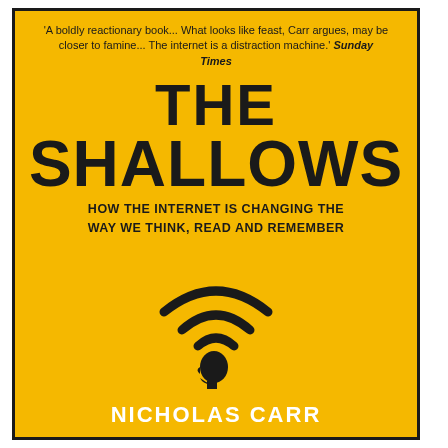'A boldly reactionary book... What looks like feast, Carr argues, may be closer to famine... The internet is a distraction machine.' Sunday Times
THE SHALLOWS
HOW THE INTERNET IS CHANGING THE WAY WE THINK, READ AND REMEMBER
[Figure (illustration): WiFi signal icon over a silhouette of a human head in profile, drawn in black on yellow background]
NICHOLAS CARR